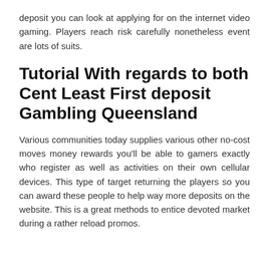deposit you can look at applying for on the internet video gaming. Players reach risk carefully nonetheless event are lots of suits.
Tutorial With regards to both Cent Least First deposit Gambling Queensland
Various communities today supplies various other no-cost moves money rewards you'll be able to gamers exactly who register as well as activities on their own cellular devices. This type of target returning the players so you can award these people to help way more deposits on the website. This is a great methods to entice devoted market during a rather reload promos.